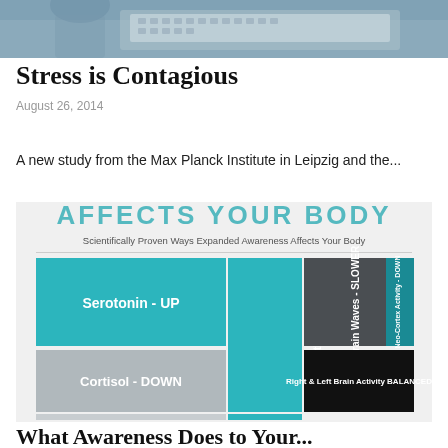[Figure (photo): Top portion of a photo showing a person working at a laptop, cropped to show only the top of the image]
Stress is Contagious
August 26, 2014
A new study from the Max Planck Institute in Leipzig and the...
[Figure (infographic): Infographic titled 'AFFECTS YOUR BODY' with subtitle 'Scientifically Proven Ways Expanded Awareness Affects Your Body'. Shows a treemap-style diagram with colored blocks: teal block 'Serotonin - UP', gray block 'Cortisol - DOWN', teal vertical block 'Human Growth Hormone - UP', dark gray block 'Brain Waves - SLOWER', teal block 'Neo-Cortex Activity - DOWN', black block 'Right & Left Brain Activity BALANCED']
What Awareness Does to Your...